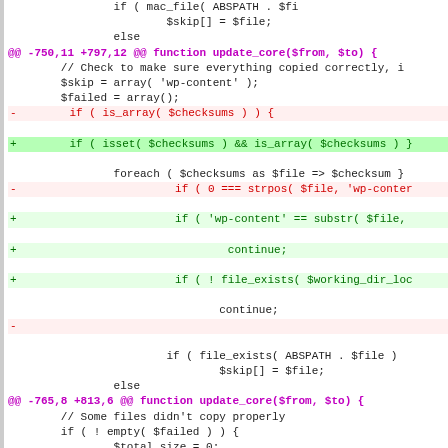[Figure (screenshot): Code diff view showing changes to update_core function in a WordPress PHP file, with hunk headers in magenta, removed lines in red, added lines in green, and context lines in black monospace font.]